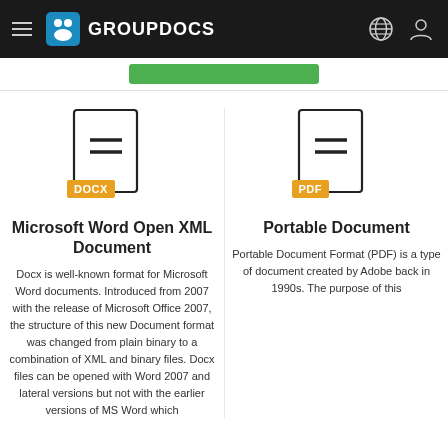GROUPDOCS
[Figure (illustration): DOCX document format icon with orange badge]
Microsoft Word Open XML Document
Docx is well-known format for Microsoft Word documents. Introduced from 2007 with the release of Microsoft Office 2007, the structure of this new Document format was changed from plain binary to a combination of XML and binary files. Docx files can be opened with Word 2007 and lateral versions but not with the earlier versions of MS Word which
[Figure (illustration): PDF document format icon with orange badge]
Portable Document
Portable Document Format (PDF) is a type of document created by Adobe back in 1990s. The purpose of this